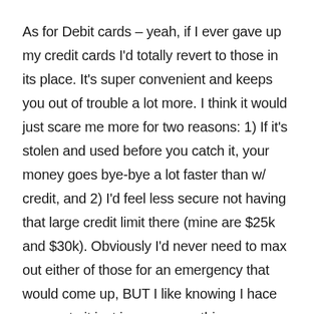As for Debit cards – yeah, if I ever gave up my credit cards I'd totally revert to those in its place. It's super convenient and keeps you out of trouble a lot more. I think it would just scare me more for two reasons: 1) If it's stolen and used before you catch it, your money goes bye-bye a lot faster than w/ credit, and 2) I'd feel less secure not having that large credit limit there (mine are $25k and $30k). Obviously I'd never need to max out either of those for an emergency that would come up, BUT I like knowing I hace access to it just in case something scary DOES come up. Esp that would cost more than what I have in my checking account (not sure